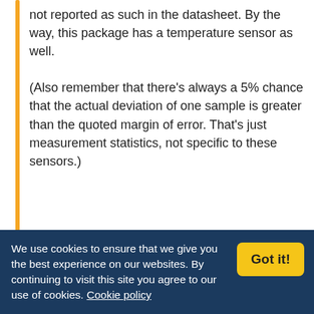not reported as such in the datasheet. By the way, this package has a temperature sensor as well.

(Also remember that there's always a 5% chance that the actual deviation of one sample is greater than the quoted margin of error. That's just measurement statistics, not specific to these sensors.)
alexeames
26th August 2015, 9:54 pm
We use cookies to ensure that we give you the best experience on our websites. By continuing to visit this site you agree to our use of cookies. Cookie policy